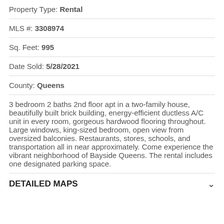Property Type: Rental
MLS #: 3308974
Sq. Feet: 995
Date Sold: 5/28/2021
County: Queens
3 bedroom 2 baths 2nd floor apt in a two-family house, beautifully built brick building, energy-efficient ductless A/C unit in every room, gorgeous hardwood flooring throughout. Large windows, king-sized bedroom, open view from oversized balconies. Restaurants, stores, schools, and transportation all in near approximately. Come experience the vibrant neighborhood of Bayside Queens. The rental includes one designated parking space.
DETAILED MAPS